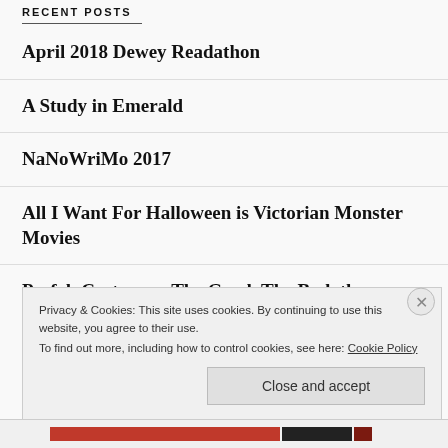RECENT POSTS
April 2018 Dewey Readathon
A Study in Emerald
NaNoWriMo 2017
All I Want For Halloween is Victorian Monster Movies
Prefab Costumes: The Good, The Bad, the Benefit of an Expanded Audience
Privacy & Cookies: This site uses cookies. By continuing to use this website, you agree to their use. To find out more, including how to control cookies, see here: Cookie Policy
Close and accept